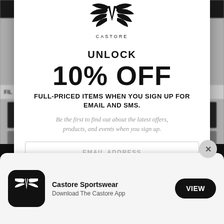[Figure (logo): Castore winged logo (black wings with V shape) and CASTORE text below]
UNLOCK
10% OFF
FULL-PRICED ITEMS WHEN YOU SIGN UP FOR EMAIL AND SMS.
Be the first to find out about the latest offers, products, and events when you sign up.
EMAIL ADDRESS
Castore Sportswear
Download The Castore App
VIEW
NO, I'LL PAY FULL PRICE